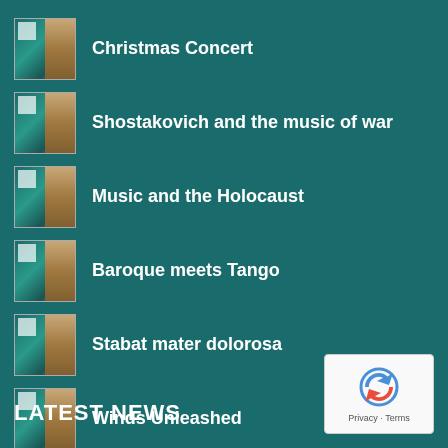Christmas Concert
Shostakovich and the music of war
Music and the Holocaust
Baroque meets Tango
Stabat mater dolorosa
Winds Unleashed
Bach and his legacy
LATEST NEWS
[Figure (logo): reCAPTCHA logo with Privacy and Terms text]